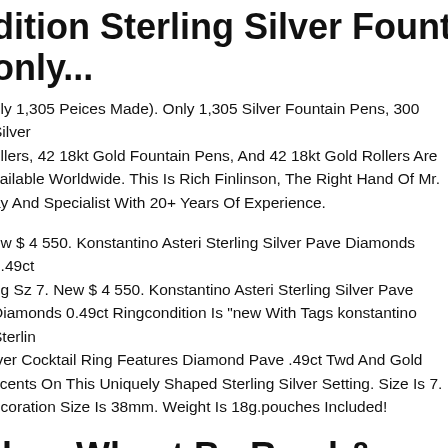dition Sterling Silver Fountain Pen only...
nly 1,305 Peices Made). Only 1,305 Silver Fountain Pens, 300 Silver ollers, 42 18kt Gold Fountain Pens, And 42 18kt Gold Rollers Are vailable Worldwide. This Is Rich Finlinson, The Right Hand Of Mr. ay And Specialist With 20+ Years Of Experience.
ew $ 4 550. Konstantino Asteri Sterling Silver Pave Diamonds 0.49ct ng Sz 7. New $ 4 550. Konstantino Asteri Sterling Silver Pave Diamonds 0.49ct Ringcondition Is "new With Tags konstantino Sterling lver Cocktail Ring Features Diamond Pave .49ct Twd And Gold ccents On This Uniquely Shaped Sterling Silver Setting. Size Is 7. ecoration Size Is 38mm. Weight Is 18g.pouches Included!
ilver Wheat By Reed & Barton terling Silver Flatware Set 8 Service 3 Pieces